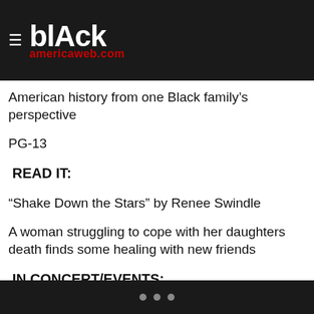blAck americaweb.com
American history from one Black family’s perspective
PG-13
READ IT:
“Shake Down the Stars” by Renee Swindle
A woman struggling to cope with her daughters death finds some healing with new friends
IN CONCERT/EVENTS:
Friday, August 16
• • •